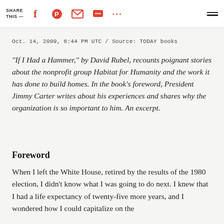SHARE THIS —
Oct. 14, 2009, 6:44 PM UTC / Source: TODAY books
"If I Had a Hammer," by David Rubel, recounts poignant stories about the nonprofit group Habitat for Humanity and the work it has done to build homes. In the book's foreword, President Jimmy Carter writes about his experiences and shares why the organization is so important to him. An excerpt.
Foreword
When I left the White House, retired by the results of the 1980 election, I didn't know what I was going to do next. I knew that I had a life expectancy of twenty-five more years, and I wondered how I could capitalize on the